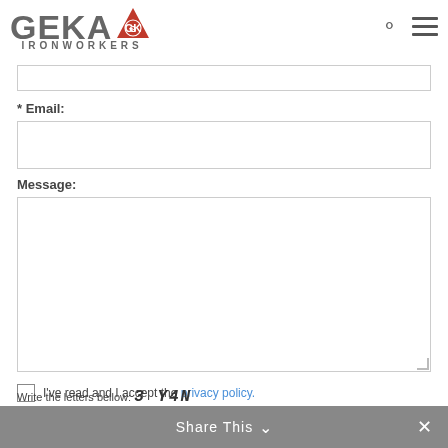[Figure (logo): GEKA Ironworkers logo with triangle and GK emblem]
* Email:
Message:
I've read and I accept the privacy policy.
I want to subscribe to the newsletter.
Write the letters bellow: 3 Y 4 N
Share This